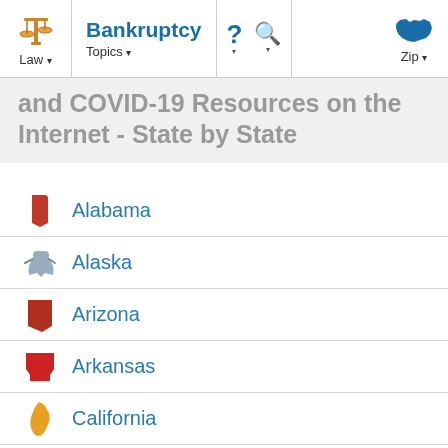Bankruptcy | Law | Topics | Zip
and COVID-19 Resources on the Internet - State by State
Alabama
Alaska
Arizona
Arkansas
California
Colorado
Connecticut